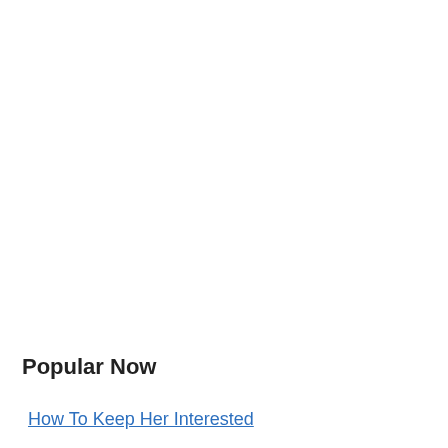Popular Now
How To Keep Her Interested